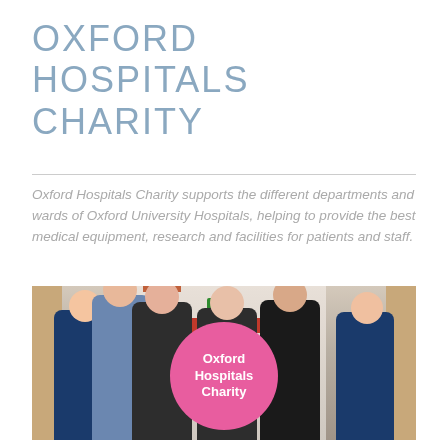OXFORD HOSPITALS CHARITY
Oxford Hospitals Charity supports the different departments and wards of Oxford University Hospitals, helping to provide the best medical equipment, research and facilities for patients and staff.
[Figure (photo): Group photo of six people in a hospital corridor, including two nurses in navy uniforms with red trim, and four others. One person in the center is holding a large pink Oxford Hospitals Charity badge/logo.]